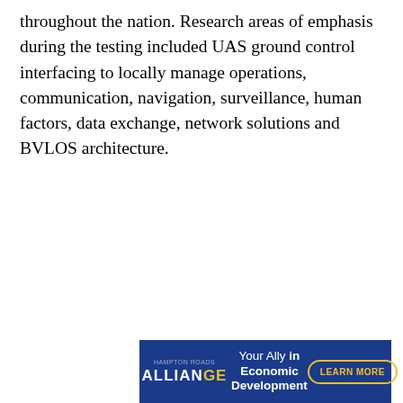throughout the nation. Research areas of emphasis during the testing included UAS ground control interfacing to locally manage operations, communication, navigation, surveillance, human factors, data exchange, network solutions and BVLOS architecture.
[Figure (other): Advertisement banner for Hampton Roads Alliance: 'Your Ally in Economic Development' with a 'LEARN MORE' button on a blue background, with an X close button in the top-right corner.]